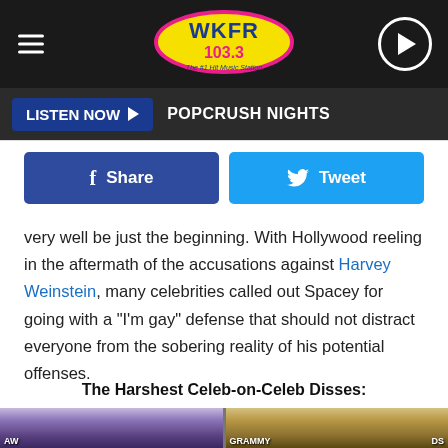WKFR 103.3 — The #1 Hit Music Station
LISTEN NOW  POPCRUSH NIGHTS
Share  Tweet
very well be just the beginning. With Hollywood reeling in the aftermath of the accusations against Harvey Weinstein, many celebrities called out Spacey for going with a "I'm gay" defense that should not distract everyone from the sobering reality of his potential offenses.
The Harshest Celeb-on-Celeb Disses:
[Figure (photo): Two celebrity photos side by side at the Grammy Awards — left person with purple hair, right person with blonde hair]